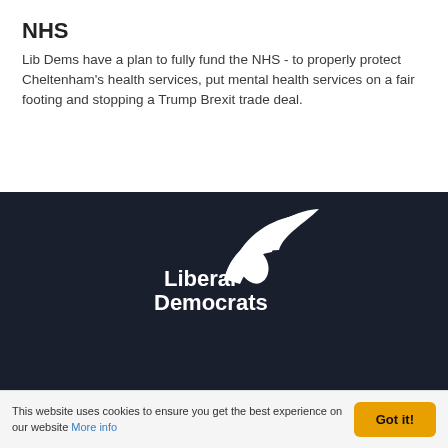NHS
Lib Dems have a plan to fully fund the NHS - to properly protect Cheltenham's health services, put mental health services on a fair footing and stopping a Trump Brexit trade deal.
[Figure (logo): Liberal Democrats logo - white bird/wing symbol with 'Liberal Democrats' text in white on dark background]
The Liberal Democrats may use the information you provide, including your political opinions, to further our objectives and share it with our elected representatives. Any data we gather will be used in accordance with our privacy policy: www.libdems.org.uk/privacy You can
This website uses cookies to ensure you get the best experience on our website More info